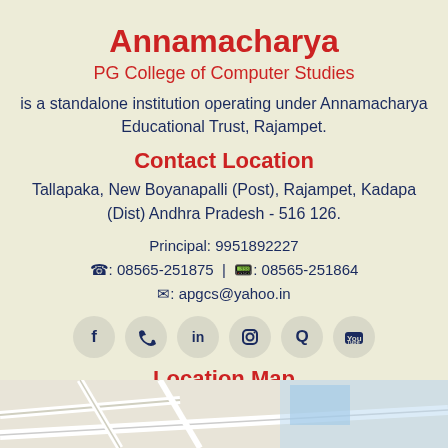Annamacharya
PG College of Computer Studies
is a standalone institution operating under Annamacharya Educational Trust, Rajampet.
Contact Location
Tallapaka, New Boyanapalli (Post), Rajampet, Kadapa (Dist) Andhra Pradesh - 516 126.
Principal: 9951892227
☎: 08565-251875 | 📠: 08565-251864
✉: apgcs@yahoo.in
[Figure (infographic): Row of 6 social media icon circles: Facebook (f), Twitter (bird), LinkedIn (in), Instagram (camera), Quora (Q), YouTube (tube icon)]
Location Map
[Figure (map): Partial map image showing street layout at bottom of page]